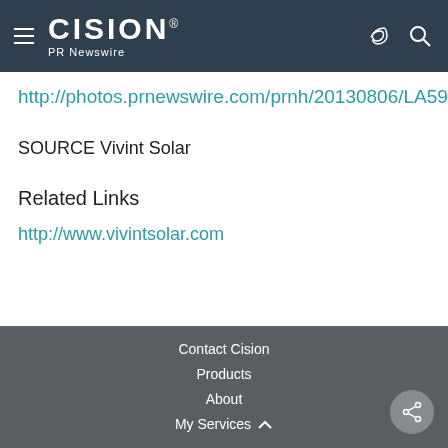CISION PR Newswire
http://photos.prnewswire.com/prnh/20130806/LA59260LOGO
SOURCE Vivint Solar
Related Links
http://www.vivintsolar.com
Contact Cision
Products
About
My Services